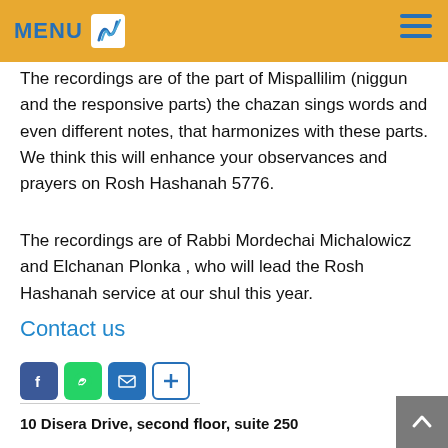MENU
The recordings are of the part of Mispallilim (niggun and the responsive parts) the chazan sings words and even different notes, that harmonizes with these parts. We think this will enhance your observances and prayers on Rosh Hashanah 5776.
The recordings are of Rabbi Mordechai Michalowicz and Elchanan Plonka , who will lead the Rosh Hashanah service at our shul this year.
[Figure (infographic): Social share buttons: Facebook (blue), WhatsApp (green), Email (blue), More/Plus (white with blue border)]
Contact us
10 Disera Drive, second floor, suite 250